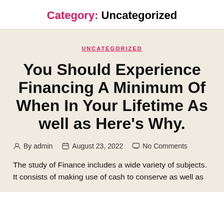Category: Uncategorized
UNCATEGORIZED
You Should Experience Financing A Minimum Of When In Your Lifetime As well as Here’s Why.
By admin  August 23, 2022  No Comments
The study of Finance includes a wide variety of subjects. It consists of making use of cash to conserve as well as